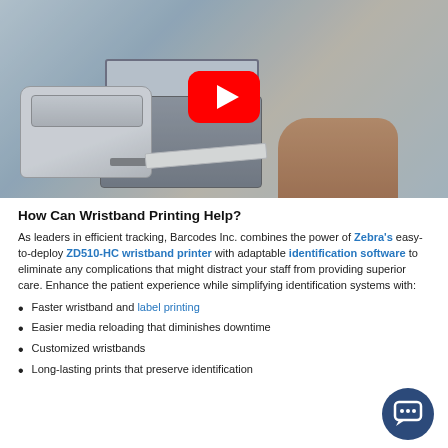[Figure (photo): A healthcare worker holding a printed wristband label from a Zebra printer, with a laptop and patient visible in the background. A YouTube play button overlay is centered on the image.]
How Can Wristband Printing Help?
As leaders in efficient tracking, Barcodes Inc. combines the power of Zebra's easy-to-deploy ZD510-HC wristband printer with adaptable identification software to eliminate any complications that might distract your staff from providing superior care. Enhance the patient experience while simplifying identification systems with:
Faster wristband and label printing
Easier media reloading that diminishes downtime
Customized wristbands
Long-lasting prints that preserve identification